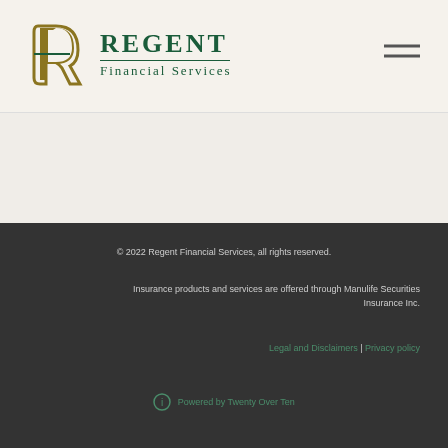[Figure (logo): Regent Financial Services logo with stylized R in gold/olive and green text]
© 2022 Regent Financial Services, all rights reserved.
Insurance products and services are offered through Manulife Securities Insurance Inc.
Legal and Disclaimers | Privacy policy
Powered by Twenty Over Ten